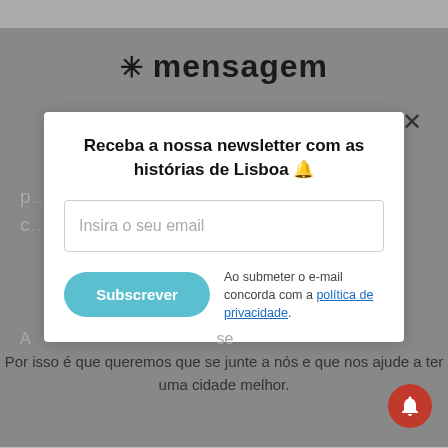[Figure (screenshot): Mensagem news website with newsletter modal overlay]
Receba a nossa newsletter com as histórias de Lisboa 🔔
Insira o seu email
Subscrever
Ao submeter o e-mail concorda com a política de privacidade.
Por isso é que queremos que se junte a nós e que nos ajude a ter uma cidade melhor.